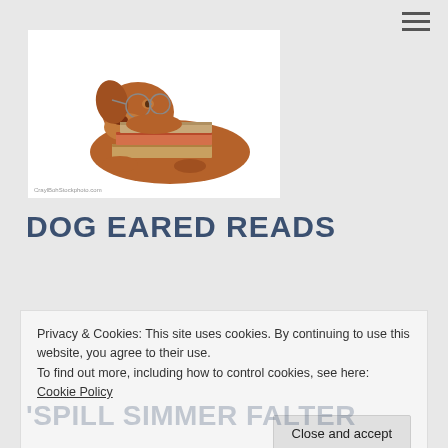[Figure (photo): A brown dog (Vizsla) wearing glasses, resting its chin on a stack of books, on a white background. Small watermark text at bottom left reads: CraylBohStockphoto.com]
DOG EARED READS
SOUL CHAPTER PAST AND WITH RED
Privacy & Cookies: This site uses cookies. By continuing to use this website, you agree to their use.
To find out more, including how to control cookies, see here: Cookie Policy
'SPILL SIMMER FALTER